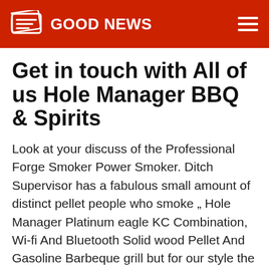GOOD NEWS
Get in touch with All of us Hole Manager BBQ & Spirits
Look at your discuss of the Professional Forge Smoker Power Smoker. Ditch Supervisor has a fabulous small amount of distinct pellet people who smoke „ Hole Manager Platinum eagle KC Combination, Wi-fi And Bluetooth Solid wood Pellet And Gasoline Barbeque grill but for our style the Ditch Supervisor